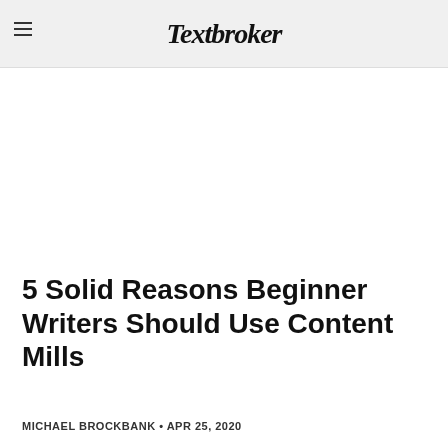Textbroker
5 Solid Reasons Beginner Writers Should Use Content Mills
MICHAEL BROCKBANK • APR 25, 2020